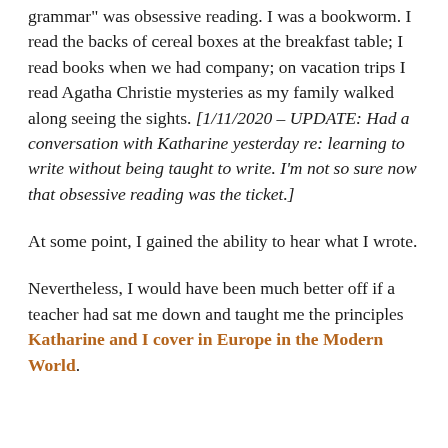grammar" was obsessive reading. I was a bookworm. I read the backs of cereal boxes at the breakfast table; I read books when we had company; on vacation trips I read Agatha Christie mysteries as my family walked along seeing the sights. [1/11/2020 – UPDATE: Had a conversation with Katharine yesterday re: learning to write without being taught to write. I'm not so sure now that obsessive reading was the ticket.]
At some point, I gained the ability to hear what I wrote.
Nevertheless, I would have been much better off if a teacher had sat me down and taught me the principles Katharine and I cover in Europe in the Modern World.